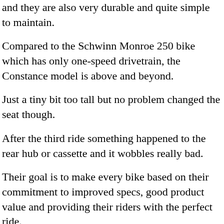and they are also very durable and quite simple to maintain.
Compared to the Schwinn Monroe 250 bike which has only one-speed drivetrain, the Constance model is above and beyond.
Just a tiny bit too tall but no problem changed the seat though.
After the third ride something happened to the rear hub or cassette and it wobbles really bad.
Their goal is to make every bike based on their commitment to improved specs, good product value and providing their riders with the perfect ride.